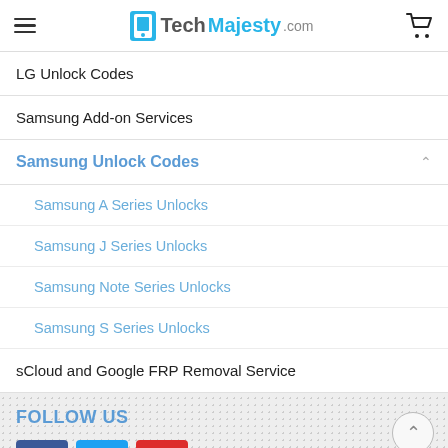TechMajesty.com
LG Unlock Codes
Samsung Add-on Services
Samsung Unlock Codes
Samsung A Series Unlocks
Samsung J Series Unlocks
Samsung Note Series Unlocks
Samsung S Series Unlocks
sCloud and Google FRP Removal Service
FOLLOW US